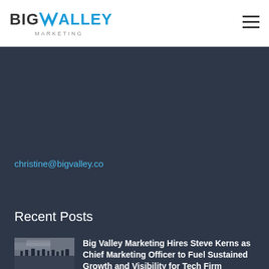BIG VALLEY MARKETING
christine@bigvalley.co
Recent Posts
Big Valley Marketing Hires Steve Kerns as Chief Marketing Officer to Fuel Sustained Growth and Visibility for Tech Firm